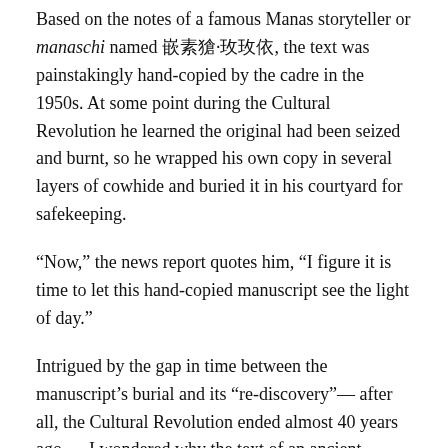Based on the notes of a famous Manas storyteller or manaschi named 居素甫·玛玛依, the text was painstakingly hand-copied by the cadre in the 1950s. At some point during the Cultural Revolution he learned the original had been seized and burnt, so he wrapped his own copy in several layers of cowhide and buried it in his courtyard for safekeeping.
“Now,” the news report quotes him, “I figure it is time to let this hand-copied manuscript see the light of day.”
Intrigued by the gap in time between the manuscript’s burial and its “re-discovery”— after all, the Cultural Revolution ended almost 40 years ago — I wondered why the text of an ancient Turkic epic like Manas is so politically sensitive.